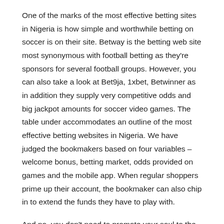One of the marks of the most effective betting sites in Nigeria is how simple and worthwhile betting on soccer is on their site. Betway is the betting web site most synonymous with football betting as they're sponsors for several football groups. However, you can also take a look at Bet9ja, 1xbet, Betwinner as in addition they supply very competitive odds and big jackpot amounts for soccer video games. The table under accommodates an outline of the most effective betting websites in Nigeria. We have judged the bookmakers based on four variables – welcome bonus, betting market, odds provided on games and the mobile app. When regular shoppers prime up their account, the bookmaker can also chip in to extend the funds they have to play with.
And no, you don't need to promote your soul to the satan to turn out to be a part of this. All you need is to be a resident of Africa, love games, and with Bet365 get within the recreation. Yes, you can place bets with worldwide websites from Nigeria.